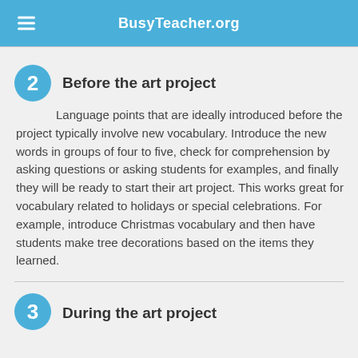BusyTeacher.org
Before the art project
Language points that are ideally introduced before the project typically involve new vocabulary. Introduce the new words in groups of four to five, check for comprehension by asking questions or asking students for examples, and finally they will be ready to start their art project. This works great for vocabulary related to holidays or special celebrations. For example, introduce Christmas vocabulary and then have students make tree decorations based on the items they learned.
During the art project